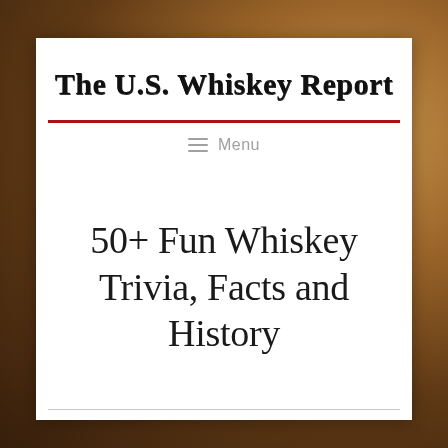The U.S. Whiskey Report
≡ Menu
50+ Fun Whiskey Trivia, Facts and History